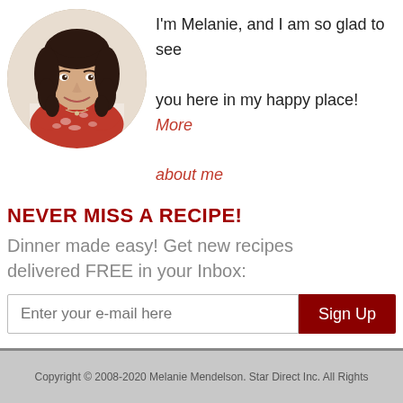[Figure (photo): Circular profile photo of Melanie, a woman with dark curly hair wearing a red floral top, smiling, shown from shoulders up against a light background.]
I'm Melanie, and I am so glad to see you here in my happy place! More about me
NEVER MISS A RECIPE!
Dinner made easy! Get new recipes delivered FREE in your Inbox:
Copyright © 2008-2020 Melanie Mendelson. Star Direct Inc. All Rights